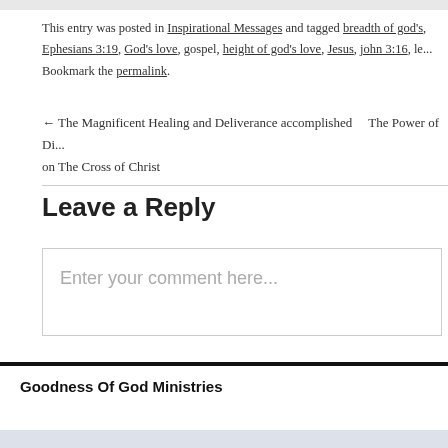This entry was posted in Inspirational Messages and tagged breadth of god's, Ephesians 3:19, God's love, gospel, height of god's love, Jesus, john 3:16, le... Bookmark the permalink.
← The Magnificent Healing and Deliverance accomplished on The Cross of Christ    The Power of Di...
Leave a Reply
Enter your comment here...
Goodness Of God Ministries